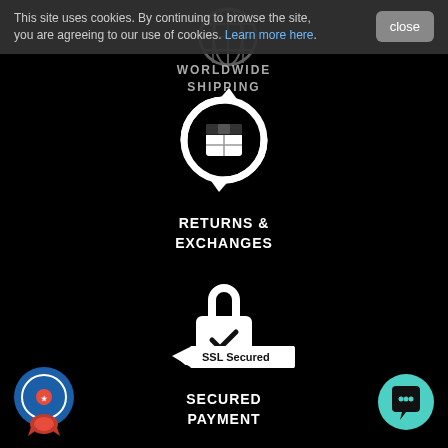This site uses cookies. By continuing to browse the site, you are agreeing to our use of cookies. Learn more here.
[Figure (illustration): Globe icon representing worldwide shipping, with text WORLDWIDE SHIPPING below]
[Figure (illustration): Returns and exchanges icon: a package with circular arrows, with text RETURNS & EXCHANGES below]
[Figure (illustration): Lock icon with checkmark and SSL Secured badge with a checkmark arrow, with text SECURED PAYMENT below]
[Figure (illustration): Blue circle badge with red ribbon/seal at bottom left corner]
[Figure (illustration): Teal/cyan chat bubble circle icon at bottom right corner]